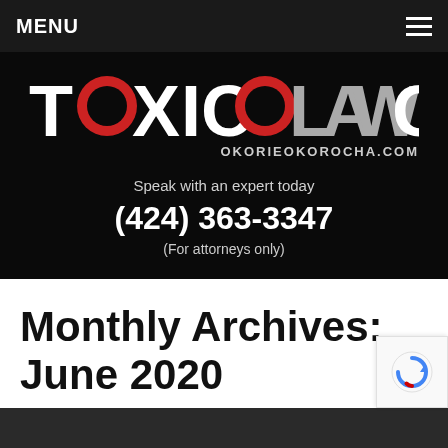MENU
[Figure (logo): Toxic Lawgy logo with red circular icons replacing the letter O in TOXIC and LAWGY, white and grey text on black background, with tagline OKORIEOKOROCHA.COM]
Speak with an expert today
(424) 363-3347
(For attorneys only)
Monthly Archives: June 2020
[Figure (photo): Dark partial photo at bottom of page]